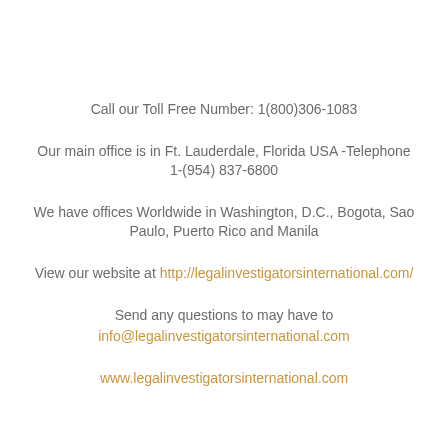Call our Toll Free Number: 1(800)306-1083
Our main office is in Ft. Lauderdale, Florida USA -Telephone 1-(954) 837-6800
We have offices Worldwide in Washington, D.C., Bogota, Sao Paulo, Puerto Rico and Manila
View our website at http://legalinvestigatorsinternational.com/
Send any questions to may have to info@legalinvestigatorsinternational.com
www.legalinvestigatorsinternational.com